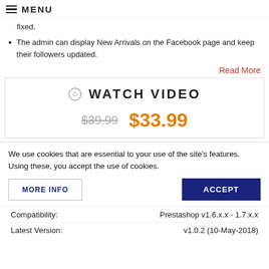≡ MENU
fixed.
The admin can display New Arrivals on the Facebook page and keep their followers updated.
Read More
[Figure (other): Watch Video section with play icon, showing price $39.99 crossed out and new price $33.99 in orange]
We use cookies that are essential to your use of the site's features. Using these, you accept the use of cookies.
MORE INFO
ACCEPT
| Compatibility: | Prestashop v1.6.x.x - 1.7.x.x |
| Latest Version: | v1.0.2 (10-May-2018) |